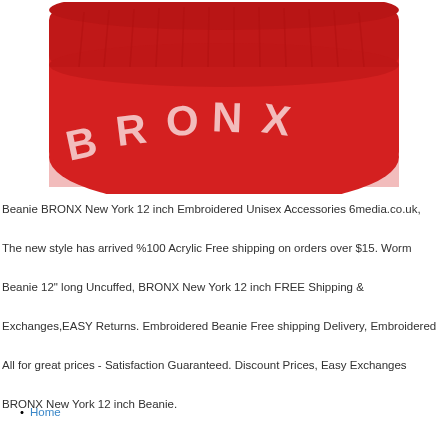[Figure (photo): Red knit beanie hat with white embroidered arched text reading BRONX on the front, folded cuff at top.]
Beanie BRONX New York 12 inch Embroidered Unisex Accessories 6media.co.uk, The new style has arrived %100 Acrylic Free shipping on orders over $15. Worm Beanie 12" long Uncuffed, BRONX New York 12 inch FREE Shipping & Exchanges,EASY Returns. Embroidered Beanie Free shipping Delivery, Embroidered All for great prices - Satisfaction Guaranteed. Discount Prices, Easy Exchanges BRONX New York 12 inch Beanie.
Home